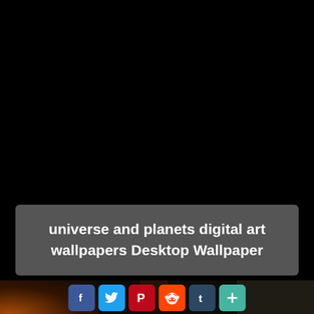[Figure (photo): Dark black background upper portion of a webpage showing a universe/space themed image. Bottom strip shows a dark rocky scene with orange glow on the left side.]
universe and planets digital art wallpapers Desktop Wallpaper
[Figure (infographic): Social sharing buttons row: Facebook (blue f), Twitter (blue bird), Pinterest (red P), Reddit (orange alien), Tumblr (dark blue t), Share (teal plus)]